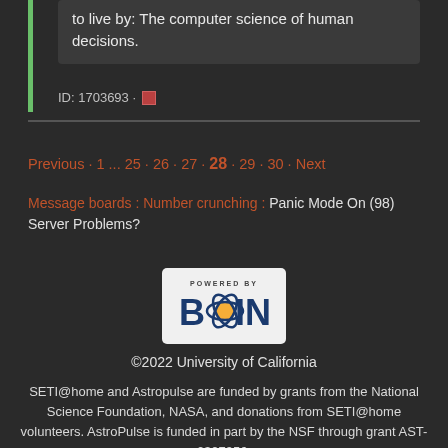to live by: The computer science of human decisions.
ID: 1703693 ·
Previous · 1 ... 25 · 26 · 27 · 28 · 29 · 30 · Next
Message boards : Number crunching : Panic Mode On (98) Server Problems?
[Figure (logo): POWERED BY BOINC logo with stylized atom/DNA graphic in blue and orange on white background]
©2022 University of California
SETI@home and Astropulse are funded by grants from the National Science Foundation, NASA, and donations from SETI@home volunteers. AstroPulse is funded in part by the NSF through grant AST-0307956.